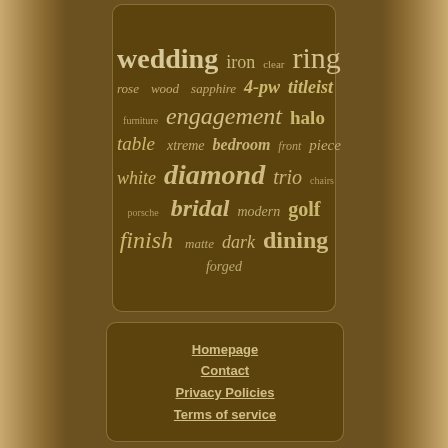[Figure (infographic): Word cloud on a dark brown rounded rectangle panel over a golden/tan background. Words include: wedding, iron, clear, ring, rose, wood, sapphire, 4-pw, titleist, furniture, engagement, halo, table, xtreme, bedroom, front, piece, white, diamond, trio, chairs, porsche, bridal, modern, golf, finish, matte, dark, dining, forged.]
Homepage
Contact
Privacy Policies
Terms of service